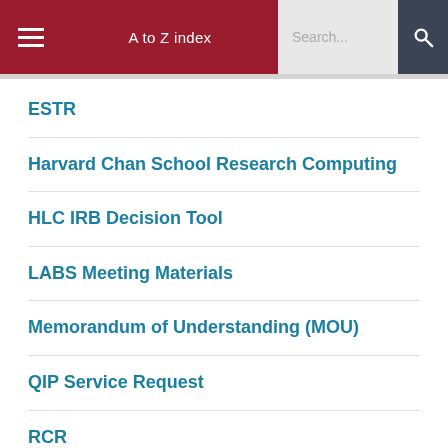A to Z index  Search...
ESTR
Harvard Chan School Research Computing
HLC IRB Decision Tool
LABS Meeting Materials
Memorandum of Understanding (MOU)
QIP Service Request
RCR